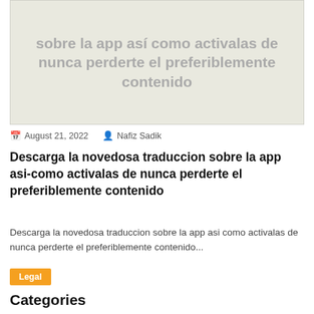[Figure (other): Light beige/gray placeholder image box containing bold gray Spanish text: 'sobre la app así como activalas de nunca perderte el preferiblemente contenido']
August 21, 2022   Nafiz Sadik
Descarga la novedosa traduccion sobre la app asi-como activalas de nunca perderte el preferiblemente contenido
Descarga la novedosa traduccion sobre la app asi como activalas de nunca perderte el preferiblemente contenido...
Legal
Categories
Bussiness
EINPressWire